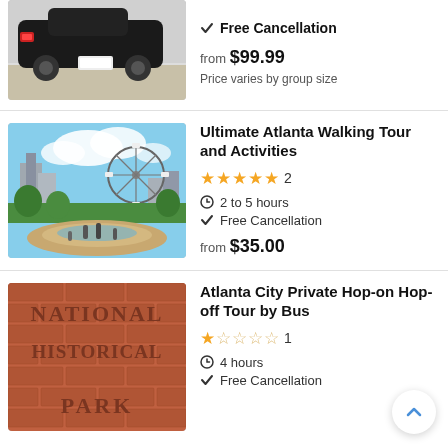[Figure (photo): Partial view of a black car from the rear]
Free Cancellation
from $99.99
Price varies by group size
[Figure (photo): Centennial Olympic Park in Atlanta with fountains, Ferris wheel, and skyline]
Ultimate Atlanta Walking Tour and Activities
2 (reviews) | 2 to 5 hours | Free Cancellation | from $35.00
[Figure (photo): Brick sign reading NATIONAL HISTORICAL PARK]
Atlanta City Private Hop-on Hop-off Tour by Bus
1 (review) | 4 hours | Free Cancellation